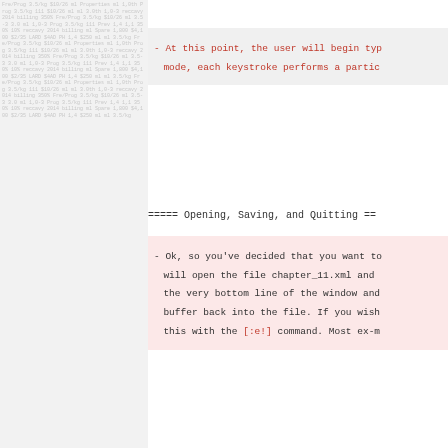[Figure (other): Left panel with faded watermark/background showing repeated tabular data and a portrait image, greyed out]
- At this point, the user will begin typ mode, each keystroke performs a partic
===== Opening, Saving, and Quitting ==
- Ok, so you've decided that you want to will open the file chapter_11.xml and the very bottom line of the window and buffer back into the file. If you wish this with the [:e!] command. Most ex-m